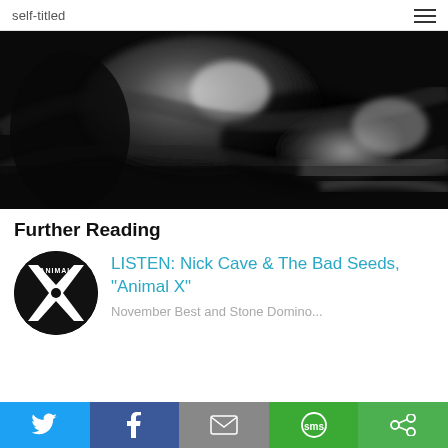self-titled
[Figure (photo): Black and white blurry action photo of a musician performing, motion blur visible throughout]
Further Reading
[Figure (logo): Black circular logo with white X shape and text ANIMAL in the center]
LISTEN: Nick Cave & The Bad Seeds, "Animal X"
November Best and Stone Domino...